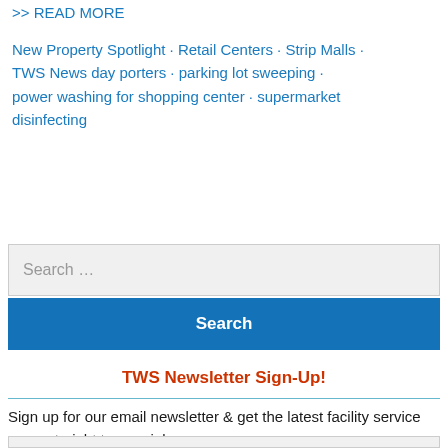>> READ MORE
New Property Spotlight · Retail Centers · Strip Malls · TWS News day porters · parking lot sweeping · power washing for shopping center · supermarket disinfecting
Search ...
Search
TWS Newsletter Sign-Up!
Sign up for our email newsletter & get the latest facility service news straight to your inbox: